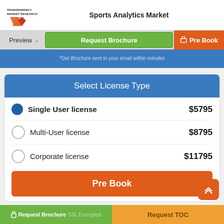Sports Analytics Market
[Figure (logo): Transparency Market Research logo with red/orange arrow graphic]
[Figure (screenshot): Navigation bar with Preview dropdown, Request Brochure (green button), and Pre Book (orange) options]
*Get Brochure sent to your email within minutes
Select License Type
Single User license   $5795
Multi-User license   $8795
Corporate license   $11795
Pre Book
Request Brochure   SSL Encrypted   Request TOC